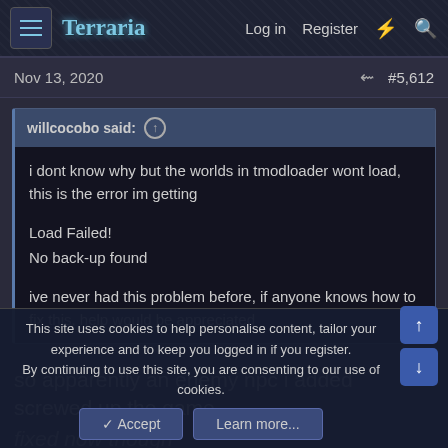Terraria — Log in   Register
Nov 13, 2020   #5,612
willcocobo said: ↑
i dont know why but the worlds in tmodloader wont load, this is the error im getting

Load Failed!
No back-up found

ive never had this problem before, if anyone knows how to fix this, help would be appreciated
so apparently an enemy npc i added screwed up the game
fixed now though
This site uses cookies to help personalise content, tailor your experience and to keep you logged in if you register.
By continuing to use this site, you are consenting to our use of cookies.
✓ Accept   Learn more...